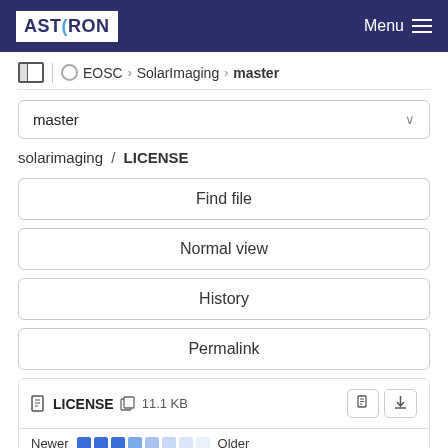ASTRON | Menu
EOSC > SolarImaging > master
master
solarimaging / LICENSE
Find file
Normal view
History
Permalink
LICENSE  11.1 KB
Newer    Older